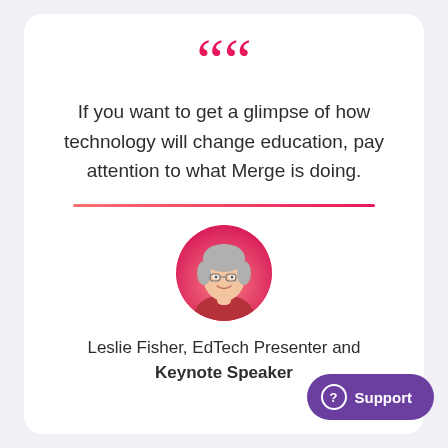““
If you want to get a glimpse of how technology will change education, pay attention to what Merge is doing.
[Figure (photo): Circular portrait photo of Leslie Fisher, a woman with short gray hair, smiling, against a pink/red background, wearing a red top.]
Leslie Fisher, EdTech Presenter and Keynote Speaker